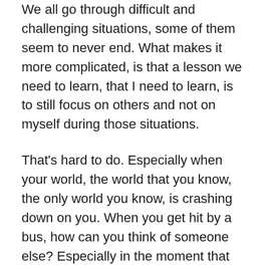We all go through difficult and challenging situations, some of them seem to never end. What makes it more complicated, is that a lesson we need to learn, that I need to learn, is to still focus on others and not on myself during those situations.
That's hard to do. Especially when your world, the world that you know, the only world you know, is crashing down on you. When you get hit by a bus, how can you think of someone else? Especially in the moment that it's hitting you? And then afterwards when you're in extreme pain?
But....that is exactly what our Savior, my Savior, taught, by example. He showed